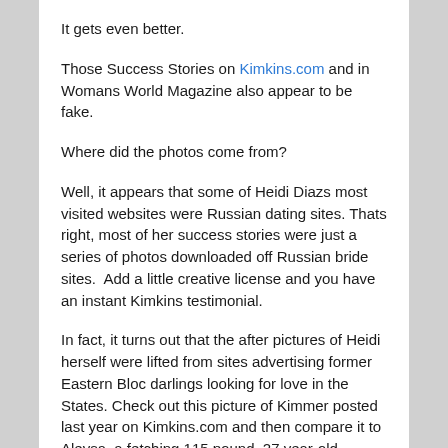It gets even better.
Those Success Stories on Kimkins.com and in Womans World Magazine also appear to be fake.
Where did the photos come from?
Well, it appears that some of Heidi Diazs most visited websites were Russian dating sites. Thats right, most of her success stories were just a series of photos downloaded off Russian bride sites.  Add a little creative license and you have an instant Kimkins testimonial.
In fact, it turns out that the after pictures of Heidi herself were lifted from sites advertising former Eastern Bloc darlings looking for love in the States. Check out this picture of Kimmer posted last year on Kimkins.com and then compare it to Aleysa, a fetching 115 pound, 27 year-old beauty from Tver, Russia: